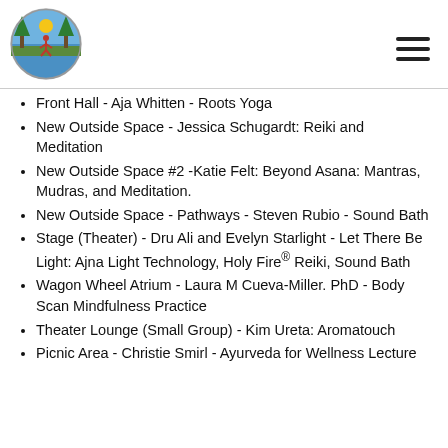[Figure (logo): Maui Bear Yoga Festival circular logo with trees, a person doing yoga, sun and water elements]
Front Hall - Aja Whitten - Roots Yoga
New Outside Space - Jessica Schugardt: Reiki and Meditation
New Outside Space #2 -Katie Felt: Beyond Asana: Mantras, Mudras, and Meditation.
New Outside Space - Pathways - Steven Rubio - Sound Bath
Stage (Theater) - Dru Ali and Evelyn Starlight - Let There Be Light: Ajna Light Technology, Holy Fire® Reiki, Sound Bath
Wagon Wheel Atrium - Laura M Cueva-Miller. PhD - Body Scan Mindfulness Practice
Theater Lounge (Small Group) - Kim Ureta: Aromatouch
Picnic Area - Christie Smirl - Ayurveda for Wellness Lecture